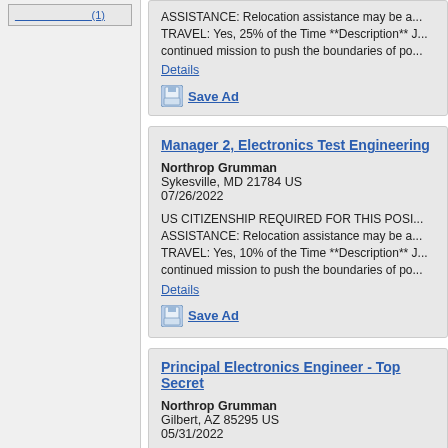ASSISTANCE: Relocation assistance may be a... TRAVEL: Yes, 25% of the Time **Description** ...continued mission to push the boundaries of po...
Details
Save Ad
Manager 2, Electronics Test Engineering
Northrop Grumman
Sykesville, MD 21784 US
07/26/2022
US CITIZENSHIP REQUIRED FOR THIS POSI... ASSISTANCE: Relocation assistance may be a... TRAVEL: Yes, 10% of the Time **Description** ...continued mission to push the boundaries of po...
Details
Save Ad
Principal Electronics Engineer - Top Secret
Northrop Grumman
Gilbert, AZ 85295 US
05/31/2022
US CITIZENSHIP REQUIRED FOR THIS POSI... ASSISTANCE: Relocation assistance may be a... TRAVEL: Yes, 10% of the Time **Description** ...continued mission to push the boundaries of po...
Details